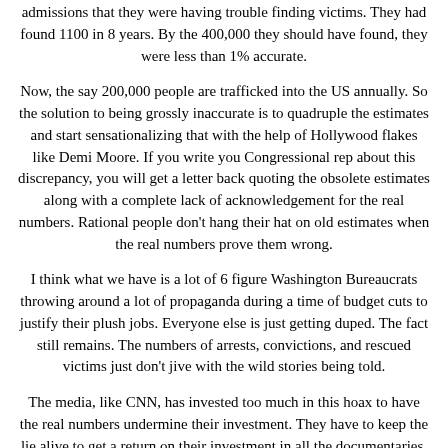admissions that they were having trouble finding victims. They had found 1100 in 8 years. By the 400,000 they should have found, they were less than 1% accurate.
Now, the say 200,000 people are trafficked into the US annually. So the solution to being grossly inaccurate is to quadruple the estimates and start sensationalizing that with the help of Hollywood flakes like Demi Moore. If you write you Congressional rep about this discrepancy, you will get a letter back quoting the obsolete estimates along with a complete lack of acknowledgement for the real numbers. Rational people don’t hang their hat on old estimates when the real numbers prove them wrong.
I think what we have is a lot of 6 figure Washington Bureaucrats throwing around a lot of propaganda during a time of budget cuts to justify their plush jobs. Everyone else is just getting duped. The fact still remains. The numbers of arrests, convictions, and rescued victims just don’t jive with the wild stories being told.
The media, like CNN, has invested too much in this hoax to have the real numbers undermine their investment. They have to keep the lie alive to get a return on their investment in all the documentaries.